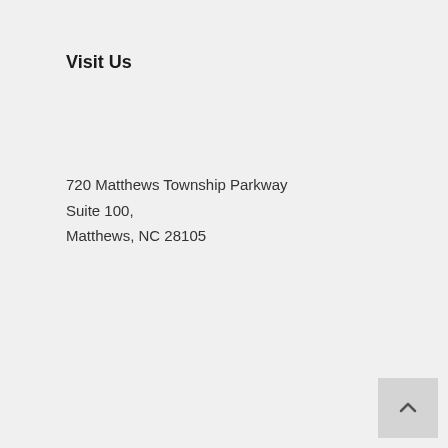Visit Us
720 Matthews Township Parkway
Suite 100,
Matthews, NC 28105